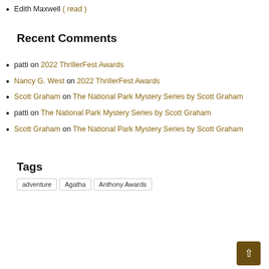Edith Maxwell ( read )
Recent Comments
patti on 2022 ThrillerFest Awards
Nancy G. West on 2022 ThrillerFest Awards
Scott Graham on The National Park Mystery Series by Scott Graham
patti on The National Park Mystery Series by Scott Graham
Scott Graham on The National Park Mystery Series by Scott Graham
Tags
adventure | Agatha | Anthony Awards